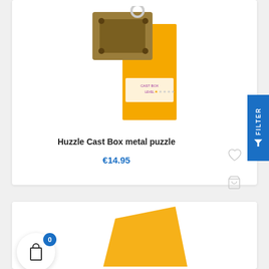[Figure (photo): Huzzle Cast Box metal puzzle product image with yellow packaging and cast metal puzzle piece shown from above]
Huzzle Cast Box metal puzzle
€14.95
[Figure (photo): Second product card showing partial view of yellow packaging at bottom, partially visible]
[Figure (other): Shopping cart icon with badge showing count 0]